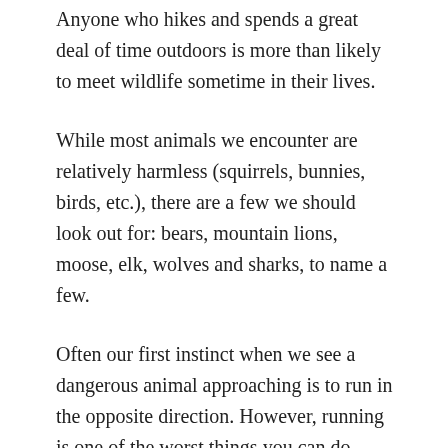Anyone who hikes and spends a great deal of time outdoors is more than likely to meet wildlife sometime in their lives.
While most animals we encounter are relatively harmless (squirrels, bunnies, birds, etc.), there are a few we should look out for: bears, mountain lions, moose, elk, wolves and sharks, to name a few.
Often our first instinct when we see a dangerous animal approaching is to run in the opposite direction. However, running is one of the worst things you can do because it will often trigger a chase response in animals.
Of course, the best way to avoid an attack from wildlife is to avoid an encounter in the first place. Wearing bear bells, talking and walking in open areas are all great ways to let wildlife know you're around. By alerting them to